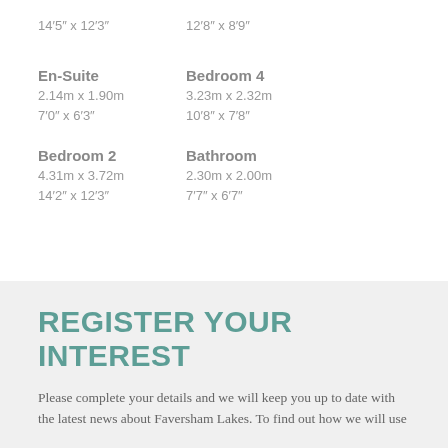14'5" x 12'3"
12'8" x 8'9"
En-Suite
2.14m x 1.90m
7'0" x 6'3"
Bedroom 4
3.23m x 2.32m
10'8" x 7'8"
Bedroom 2
4.31m x 3.72m
14'2" x 12'3"
Bathroom
2.30m x 2.00m
7'7" x 6'7"
REGISTER YOUR INTEREST
Please complete your details and we will keep you up to date with the latest news about Faversham Lakes. To find out how we will use